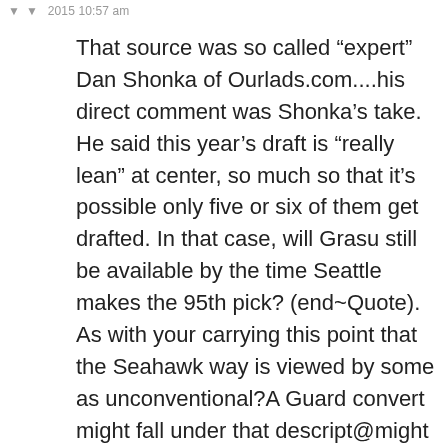2015 10:57 am
That source was so called “expert” Dan Shonka of Ourlads.com....his direct comment was Shonka’s take. He said this year’s draft is “really lean” at center, so much so that it’s possible only five or six of them get drafted. In that case, will Grasu still be available by the time Seattle makes the 95th pick? (end~Quote).
As with your carrying this point that the Seahawk way is viewed by some as unconventional?A Guard convert might fall under that descript@might carry the day in terms of need@be better accepted by brass as the best effort in going forward in the “Post Max”seasons.